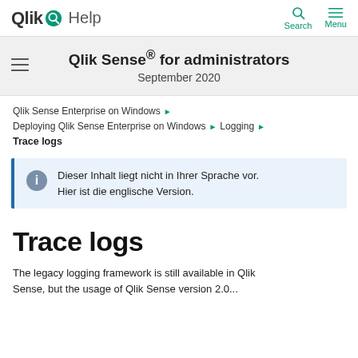Qlik Help | Search | Menu
Qlik Sense® for administrators
September 2020
Qlik Sense Enterprise on Windows ▶
Deploying Qlik Sense Enterprise on Windows ▶ Logging ▶
Trace logs
Dieser Inhalt liegt nicht in Ihrer Sprache vor. Hier ist die englische Version.
Trace logs
The legacy logging framework is still available in Qlik Sense, but the usage of Qlik Sense version 2.0...